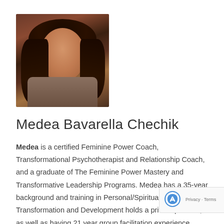[Figure (photo): Portrait photo of Medea Bavarella Chechik, a woman with dark hair, smiling, wearing a necklace and patterned clothing, against a warm-toned background.]
Medea Bavarella Chechik
Medea is a certified Feminine Power Coach, Transformational Psychotherapist and Relationship Coach, and a graduate of The Feminine Power Mastery and Transformative Leadership Programs. Medea has a 35-year background and training in Personal/Spiritual Transformation and Development holds a private practice, as well as having 21 year group facilitation experience. Medea is currently writing a book about her life and also compiling an